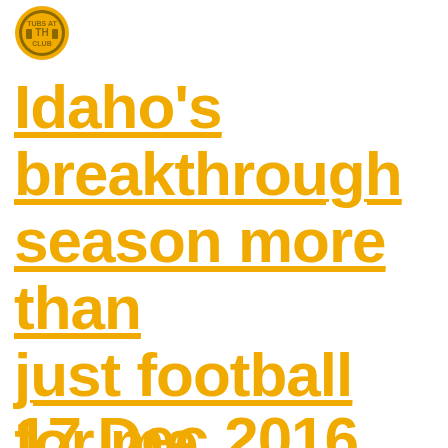[Figure (logo): Tubs at The Club logo — gold/yellow circular emblem with 'TUBS AT CLUB' text]
Idaho's breakthrough season more than just football for me, kind of. – Tubs at The Club
17 Dec 2016